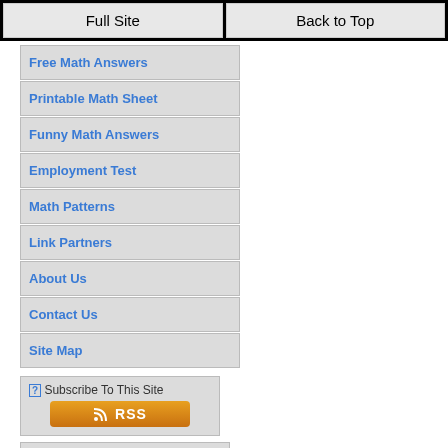Full Site | Back to Top
Free Math Answers
Printable Math Sheet
Funny Math Answers
Employment Test
Math Patterns
Link Partners
About Us
Contact Us
Site Map
[?] Subscribe To This Site
[Figure (infographic): RSS feed subscription button in orange]
E-mail Address
First Name
Then Subscribe